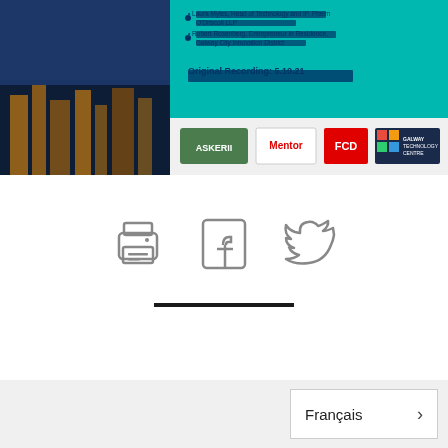[Figure (screenshot): Partial banner/thumbnail showing a city skyline photo on the left (dark blue tones, nighttime cityscape), a teal/green background on the right with bullet point text listing speakers including 'Laura Myles, Head of Technology and IP, Phelm O'Driscoll LLP' and 'Robert Rosenberg, Entrepreneur in Residence, Galway City Innovation District', with bold text 'Original Recording: 5.10.21' and sponsor logos at the bottom: Askerii, Mentor, FCD, and Galway Technology Centre.]
[Figure (infographic): Three social/action icons arranged horizontally: a printer icon (outline style), a Facebook icon (outline style with 'f' letterform), and a Twitter bird icon (outline style).]
[Figure (other): A thick horizontal black divider line centered on the page.]
Français >